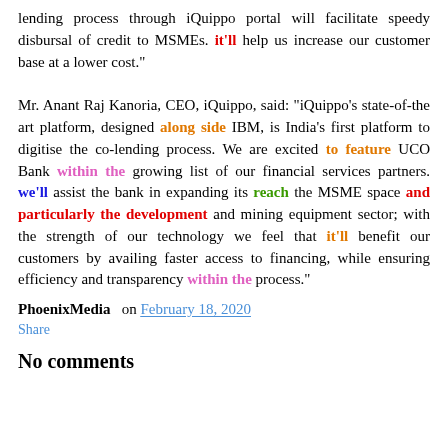lending process through iQuippo portal will facilitate speedy disbursal of credit to MSMEs. it'll help us increase our customer base at a lower cost."
Mr. Anant Raj Kanoria, CEO, iQuippo, said: "iQuippo's state-of-the art platform, designed along side IBM, is India's first platform to digitise the co-lending process. We are excited to feature UCO Bank within the growing list of our financial services partners. we'll assist the bank in expanding its reach the MSME space and particularly the development and mining equipment sector; with the strength of our technology we feel that it'll benefit our customers by availing faster access to financing, while ensuring efficiency and transparency within the process."
PhoenixMedia on February 18, 2020
Share
No comments